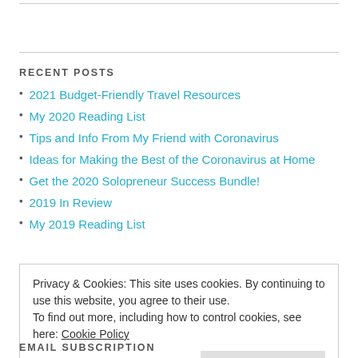RECENT POSTS
2021 Budget-Friendly Travel Resources
My 2020 Reading List
Tips and Info From My Friend with Coronavirus
Ideas for Making the Best of the Coronavirus at Home
Get the 2020 Solopreneur Success Bundle!
2019 In Review
My 2019 Reading List
Privacy & Cookies: This site uses cookies. By continuing to use this website, you agree to their use.
To find out more, including how to control cookies, see here: Cookie Policy
Close and accept
EMAIL SUBSCRIPTION